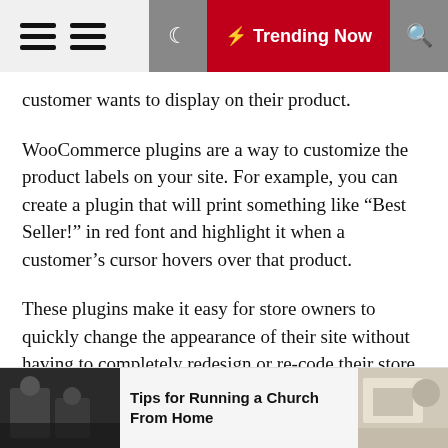Trending Now
customer wants to display on their product.
WooCommerce plugins are a way to customize the product labels on your site. For example, you can create a plugin that will print something like “Best Seller!” in red font and highlight it when a customer’s cursor hovers over that product.
These plugins make it easy for store owners to quickly change the appearance of their site without having to completely redesign or re-code their store. They also allow you to update your store design without having to worry about losing your customizations.
WooCommerce plugins can help you to do all that and more. They come with numerous different features that allow you to customize your labels as well as your
[Figure (photo): Small thumbnail image of people at a table, dark toned]
Tips for Running a Church From Home
[Figure (photo): Small thumbnail image, light toned, person at desk]